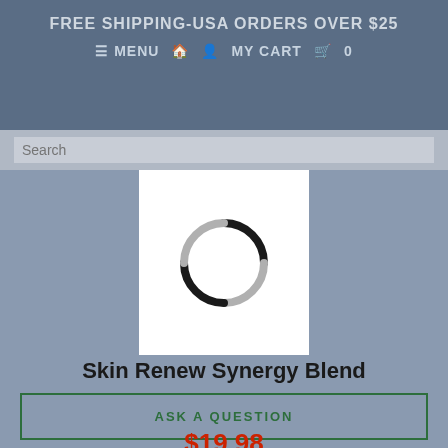FREE SHIPPING-USA ORDERS OVER $25
≡ MENU  🏠  👤  MY CART  🛒  0
[Figure (screenshot): Search input bar with placeholder text 'Search']
[Figure (infographic): Loading spinner icon on white square overlay]
Skin Renew Synergy Blend
ASK A QUESTION
$19.98
Quantity
1